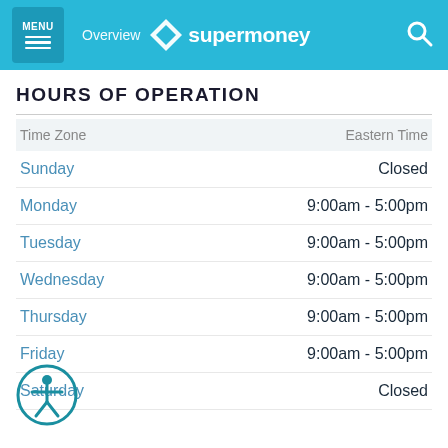MENU | Overview | supermoney
HOURS OF OPERATION
| Time Zone | Eastern Time |
| --- | --- |
| Sunday | Closed |
| Monday | 9:00am - 5:00pm |
| Tuesday | 9:00am - 5:00pm |
| Wednesday | 9:00am - 5:00pm |
| Thursday | 9:00am - 5:00pm |
| Friday | 9:00am - 5:00pm |
| Saturday | Closed |
[Figure (illustration): Accessibility icon — circular teal badge with a human figure silhouette]